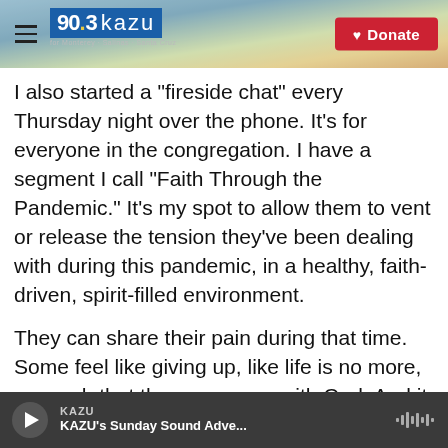[Figure (screenshot): KAZU 90.3 radio station website header with logo, hamburger menu, and red Donate button over a coastal landscape photo background]
I also started a "fireside chat" every Thursday night over the phone. It's for everyone in the congregation. I have a segment I call "Faith Through the Pandemic." It's my spot to allow them to vent or release the tension they've been dealing with during this pandemic, in a healthy, faith-driven, spirit-filled environment.
They can share their pain during that time. Some feel like giving up, like life is no more, so much that they are angry with God. And it is healthy for them to express it. When I come on, I highlight the idea that by sharing their feelings, they're going to be
KAZU
KAZU's Sunday Sound Adve...